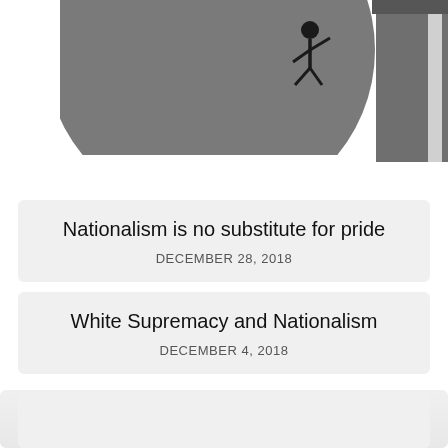[Figure (illustration): A partial circular/globe-like illustration in dark gray showing a stick figure climbing, with vertical columns labeled 'Diversity', 'Respect', 'Equality' in white text on dark gray background, cropped at the top of the page.]
Nationalism is no substitute for pride
DECEMBER 28, 2018
White Supremacy and Nationalism
DECEMBER 4, 2018